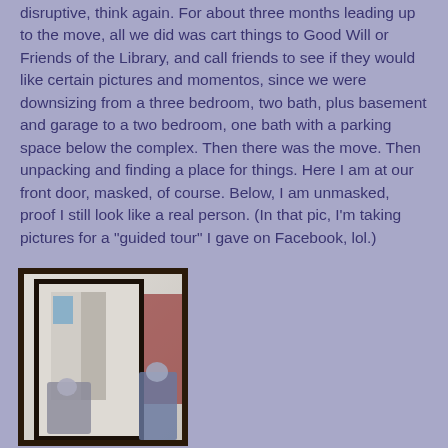disruptive, think again. For about three months leading up to the move, all we did was cart things to Good Will or Friends of the Library, and call friends to see if they would like certain pictures and momentos, since we were downsizing from a three bedroom, two bath, plus basement and garage to a two bedroom, one bath with a parking space below the complex. Then there was the move. Then unpacking and finding a place for things. Here I am at our front door, masked, of course. Below, I am unmasked, proof I still look like a real person. (In that pic, I'm taking pictures for a "guided tour" I gave on Facebook, lol.)
[Figure (photo): A photograph showing a person reflected in or near a mirror, standing in a room with a dark-framed mirror visible and a red/dark element on the right side of the frame. The interior appears to be a hallway or entryway.]